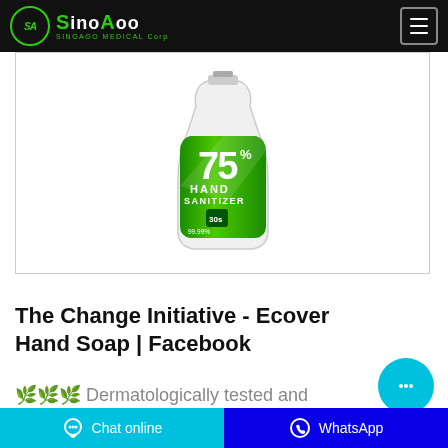SinoAoo SINOAOO MEDICAL Corp
[Figure (photo): Hand sanitizer bottle with green label showing 75% alcohol, 'Hand Sanitizer' text, and 99.99% kill rate claim]
The Change Initiative - Ecover Hand Soap | Facebook
🌿🌿🌿 Dermatologically tested and approved, with aloe vera for super soft skin. 🌿🌿 Protects skin pH to leave your
Chat online | WhatsApp